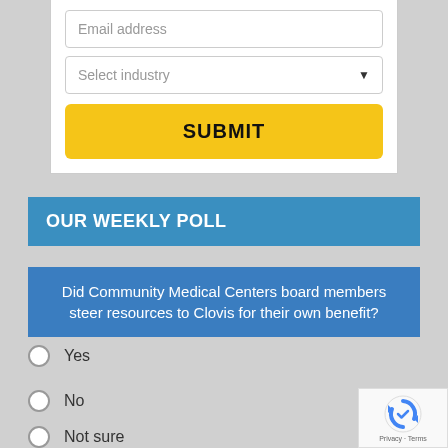Email address
Select industry
SUBMIT
OUR WEEKLY POLL
Did Community Medical Centers board members steer resources to Clovis for their own benefit?
Yes
No
Not sure